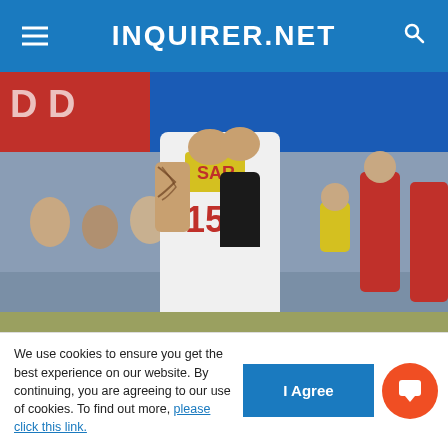INQUIRER.NET
[Figure (photo): Basketball player wearing number 15 jersey for Star Hotshots, clapping hands with tattooed arm, with crowd and other players in background at PBA game.]
PBA IMAGES
With the Star-Ginebra semifinals series going the distance, Marc Pingris and the Hotshots will be
We use cookies to ensure you get the best experience on our website. By continuing, you are agreeing to our use of cookies. To find out more, please click this link.